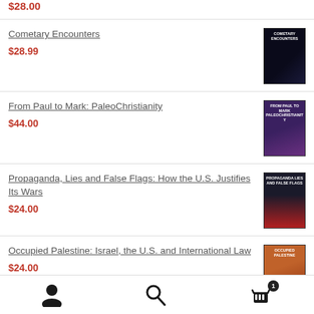$28.00
Cometary Encounters
$28.99
From Paul to Mark: PaleoChristianity
$44.00
Propaganda, Lies and False Flags: How the U.S. Justifies Its Wars
$24.00
Occupied Palestine: Israel, the U.S. and International Law
$24.00
User icon | Search icon | Cart icon (1)